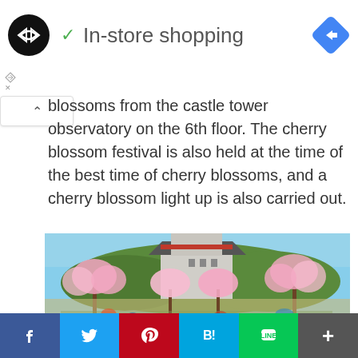In-store shopping
blossoms from the castle tower observatory on the 6th floor. The cherry blossom festival is also held at the time of the best time of cherry blossoms, and a cherry blossom light up is also carried out.
[Figure (photo): Japanese castle surrounded by cherry blossom trees in full bloom, with visitors in the foreground]
Facebook | Twitter | Pinterest | Hatena Bookmark | LINE | More